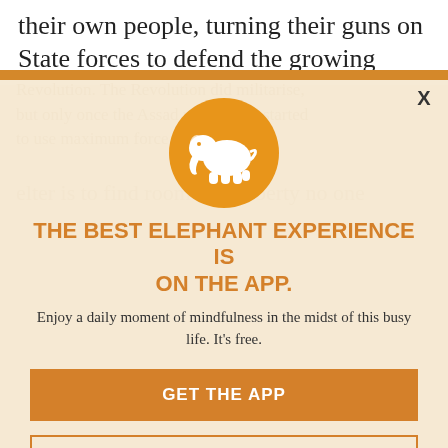their own people, turning their guns on State forces to defend the growing
Revolution. The Revolution did militarise, but only once the Assad regime had started to use maximum force.
[Figure (logo): Orange circle with white elephant silhouette logo]
THE BEST ELEPHANT EXPERIENCE IS ON THE APP.
Enjoy a daily moment of mindfulness in the midst of this busy life. It's free.
GET THE APP
OPEN IN APP